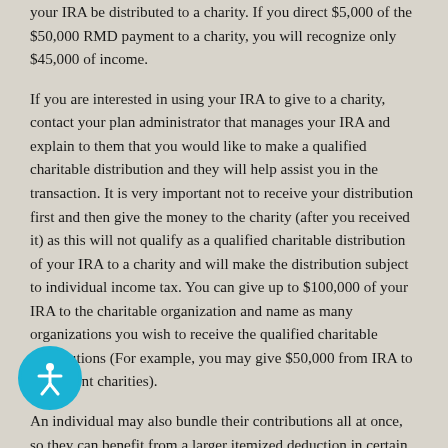your IRA be distributed to a charity. If you direct $5,000 of the $50,000 RMD payment to a charity, you will recognize only $45,000 of income.
If you are interested in using your IRA to give to a charity, contact your plan administrator that manages your IRA and explain to them that you would like to make a qualified charitable distribution and they will help assist you in the transaction. It is very important not to receive your distribution first and then give the money to the charity (after you received it) as this will not qualify as a qualified charitable distribution of your IRA to a charity and will make the distribution subject to individual income tax. You can give up to $100,000 of your IRA to the charitable organization and name as many organizations you wish to receive the qualified charitable distributions (For example, you may give $50,000 from IRA to 5 different charities).
An individual may also bundle their contributions all at once, so they can benefit from a larger itemized deduction in certain years instead of making smaller gifts each year. If you do not wish for a charity to receive a lump sum gift in a given year, you may give the large sum to a donor-advised fund (DAF...